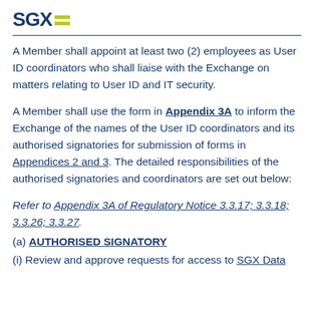[Figure (logo): SGX logo with two yellow/green horizontal bars]
A Member shall appoint at least two (2) employees as User ID coordinators who shall liaise with the Exchange on matters relating to User ID and IT security.
A Member shall use the form in Appendix 3A to inform the Exchange of the names of the User ID coordinators and its authorised signatories for submission of forms in Appendices 2 and 3. The detailed responsibilities of the authorised signatories and coordinators are set out below:
Refer to Appendix 3A of Regulatory Notice 3.3.17; 3.3.18; 3.3.26; 3.3.27.
(a) AUTHORISED SIGNATORY
(i) Review and approve requests for access to SGX Data